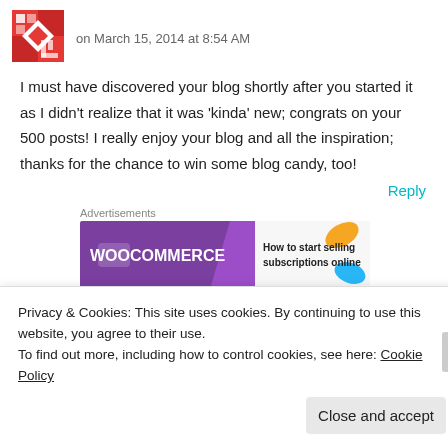[Figure (logo): Red and white geometric/diamond pattern avatar icon]
on March 15, 2014 at 8:54 AM
I must have discovered your blog shortly after you started it as I didn't realize that it was 'kinda' new; congrats on your 500 posts! I really enjoy your blog and all the inspiration; thanks for the chance to win some blog candy, too!
Reply
Advertisements
[Figure (screenshot): WooCommerce advertisement banner: How to start selling subscriptions online]
Privacy & Cookies: This site uses cookies. By continuing to use this website, you agree to their use.
To find out more, including how to control cookies, see here: Cookie Policy
Close and accept